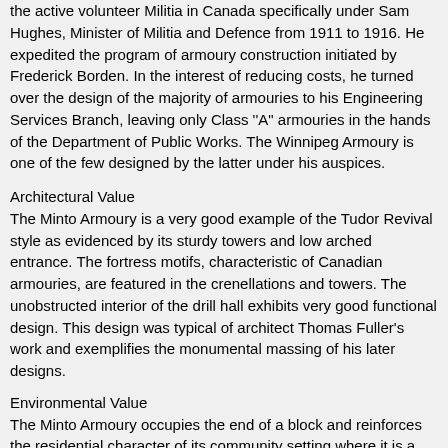the active volunteer Militia in Canada specifically under Sam Hughes, Minister of Militia and Defence from 1911 to 1916. He expedited the program of armoury construction initiated by Frederick Borden. In the interest of reducing costs, he turned over the design of the majority of armouries to his Engineering Services Branch, leaving only Class "A" armouries in the hands of the Department of Public Works. The Winnipeg Armoury is one of the few designed by the latter under his auspices.
Architectural Value
The Minto Armoury is a very good example of the Tudor Revival style as evidenced by its sturdy towers and low arched entrance. The fortress motifs, characteristic of Canadian armouries, are featured in the crenellations and towers. The unobstructed interior of the drill hall exhibits very good functional design. This design was typical of architect Thomas Fuller's work and exemplifies the monumental massing of his later designs.
Environmental Value
The Minto Armoury occupies the end of a block and reinforces the residential character of its community setting where it is a local landmark.
Sources: Armoury, CFB Winnipeg, Winnipeg, Manitoba, Federal Heritage Building Review Office Building Report, 90-061; Armoury...